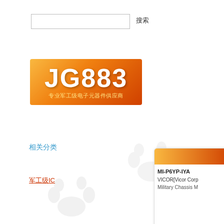[Figure (other): Search input field box]
搜索
[Figure (logo): JG883 logo - orange gradient background with white bold text 'JG883' and yellow subtitle text '专业军工级电子元器件供应商']
相关分类
军工级IC
[Figure (other): Paw print watermark decorative element, partially visible, gray color]
[Figure (other): Paw print watermark decorative element, partially visible, gray color, upper right area]
[Figure (other): Product card partially visible on right side showing MI-P6YP-IYA product from VICOR[Vicor Corp], Military Chassis M...]
MI-P6YP-IYA
VICOR[Vicor Corp
Military Chassis M